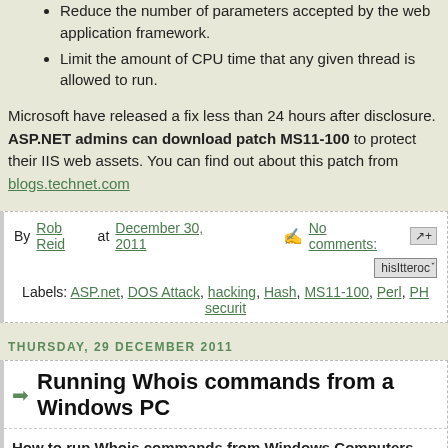Reduce the number of parameters accepted by the web application framework.
Limit the amount of CPU time that any given thread is allowed to run.
Microsoft have released a fix less than 24 hours after disclosure. ASP.NET admins can download patch MS11-100 to protect their IIS web assets. You can find out about this patch from blogs.technet.com
By Rob Reid at December 30, 2011   No comments:
Labels: ASP.net, DOS Attack, hacking, Hash, MS11-100, Perl, PHP, securit
THURSDAY, 29 DECEMBER 2011
Running Whois commands from a Windows PC
How to run Whois commands from Windows Computers
Unlike LINUX this is a little more complicated and you will need to use a 3rd party tool like WhoisCL which you can download from here: http://www.softpedia.com/progDownload/WhoisCL-Download-44833.html